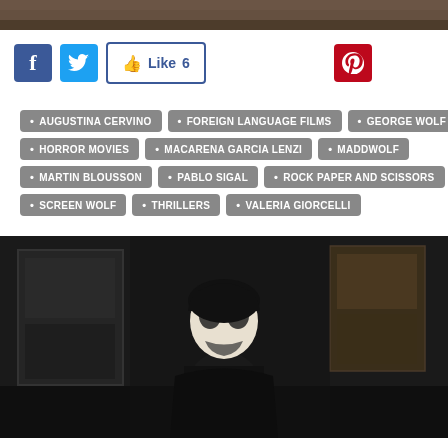[Figure (photo): Top portion of a dark horror movie scene image, partially visible]
[Figure (infographic): Social media sharing buttons: Facebook (blue), Twitter (blue bird), Like 6 button, and Pinterest (red)]
AUGUSTINA CERVINO
FOREIGN LANGUAGE FILMS
GEORGE WOLF
HORROR MOVIES
MACARENA GARCIA LENZI
MADDWOLF
MARTIN BLOUSSON
PABLO SIGAL
ROCK PAPER AND SCISSORS
SCREEN WOLF
THRILLERS
VALERIA GIORCELLI
[Figure (photo): Dark horror movie still showing a masked figure wearing a black and white skull/ghost mask, standing in a dimly lit interior with windows visible in background]